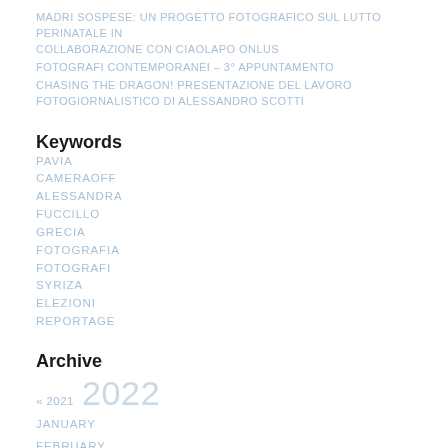MADRI SOSPESE: UN PROGETTO FOTOGRAFICO SUL LUTTO PERINATALE IN COLLABORAZIONE CON CIAOLAPO ONLUS
FOTOGRAFI CONTEMPORANEI – 3° APPUNTAMENTO
CHASING THE DRAGON! PRESENTAZIONE DEL LAVORO FOTOGIORNALISTICO DI ALESSANDRO SCOTTI
Keywords
PAVIA
CAMERAOFF
ALESSANDRA
FUCCILLO
GRECIA
FOTOGRAFIA
FOTOGRAFI
Syriza
ELEZIONI
REPORTAGE
Archive
« 2021  2022
JANUARY
FEBRUARY
MARCH